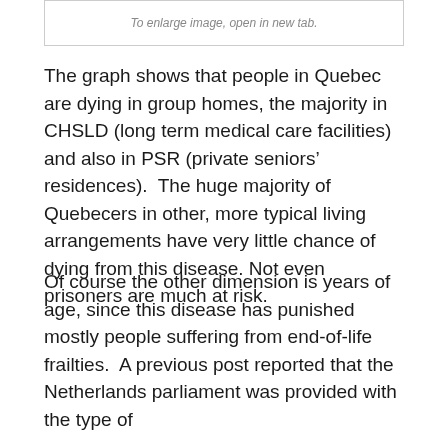[Figure (other): Placeholder box with text indicating an image that can be enlarged by opening in a new tab]
The graph shows that people in Quebec are dying in group homes, the majority in CHSLD (long term medical care facilities) and also in PSR (private seniors’ residences).  The huge majority of Quebecers in other, more typical living arrangements have very little chance of dying from this disease. Not even prisoners are much at risk.
Of course the other dimension is years of age, since this disease has punished mostly people suffering from end-of-life frailties.  A previous post reported that the Netherlands parliament was provided with the type of